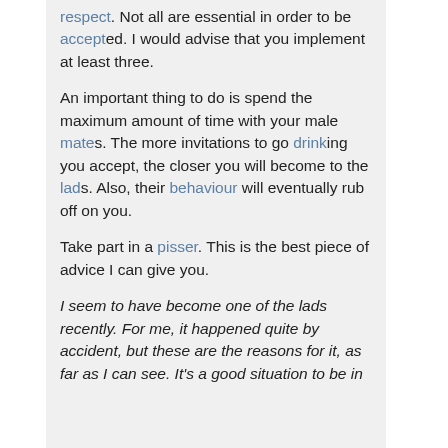respect. Not all are essential in order to be accepted. I would advise that you implement at least three.
An important thing to do is spend the maximum amount of time with your male mates. The more invitations to go drinking you accept, the closer you will become to the lads. Also, their behaviour will eventually rub off on you.
Take part in a pisser. This is the best piece of advice I can give you.
I seem to have become one of the lads recently. For me, it happened quite by accident, but these are the reasons for it, as far as I can see. It's a good situation to be in